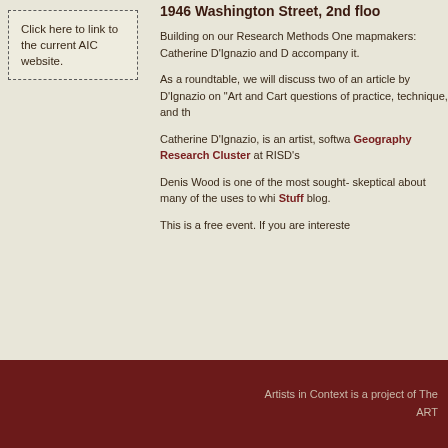Click here to link to the current AIC website.
1946 Washington Street, 2nd floo
Building on our Research Methods One mapmakers: Catherine D'Ignazio and D accompany it.
As a roundtable, we will discuss two of an article by D'Ignazio on "Art and Cart questions of practice, technique, and th
Catherine D'Ignazio, is an artist, softwa Geography Research Cluster at RISD's
Denis Wood is one of the most sought- skeptical about many of the uses to whi Stuff blog.
This is a free event. If you are intereste
Artists in Context is a project of The ART